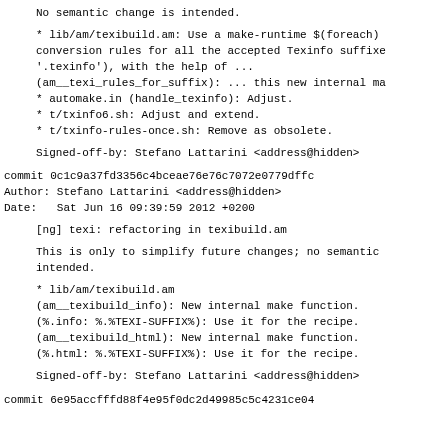No semantic change is intended.
* lib/am/texibuild.am: Use a make-runtime $(foreach)
conversion rules for all the accepted Texinfo suffixe
'.texinfo'), with the help of ...
(am__texi_rules_for_suffix): ... this new internal ma
* automake.in (handle_texinfo): Adjust.
* t/txinfo6.sh: Adjust and extend.
* t/txinfo-rules-once.sh: Remove as obsolete.
Signed-off-by: Stefano Lattarini <address@hidden>
commit 0c1c9a37fd3356c4bceae76e76c7072e0779dffc
Author: Stefano Lattarini <address@hidden>
Date:   Sat Jun 16 09:39:59 2012 +0200
[ng] texi: refactoring in texibuild.am
This is only to simplify future changes; no semantic
intended.
* lib/am/texibuild.am
(am__texibuild_info): New internal make function.
(%.info: %.%TEXI-SUFFIX%): Use it for the recipe.
(am__texibuild_html): New internal make function.
(%.html: %.%TEXI-SUFFIX%): Use it for the recipe.
Signed-off-by: Stefano Lattarini <address@hidden>
commit 6e95accfffd88f4e95f0dc2d49985c5c4231ce04